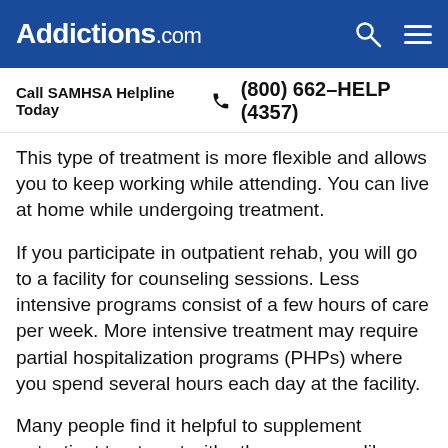Addictions.com
Call SAMHSA Helpline Today  (800) 662-HELP (4357)
This type of treatment is more flexible and allows you to keep working while attending. You can live at home while undergoing treatment.
If you participate in outpatient rehab, you will go to a facility for counseling sessions. Less intensive programs consist of a few hours of care per week. More intensive treatment may require partial hospitalization programs (PHPs) where you spend several hours each day at the facility.
Many people find it helpful to supplement outpatient treatment with other programs like Alcoholics Anonymous (AA). These meetings are run by peers